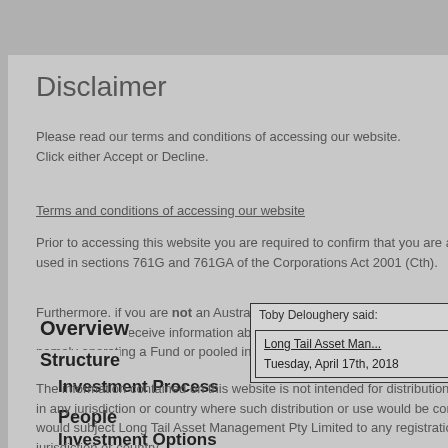Disclaimer
Please read our terms and conditions of accessing our website. Click either Accept or Decline.
Terms and conditions of accessing our website
Prior to accessing this website you are required to confirm that you are a wholesale client as that term is used in sections 761G and 761GA of the Corporations Act 2001 (Cth).
Furthermore, if you are not an Australian resident, you must confirm that you are in a jurisdiction where it is not unlawful to receive information about Long Tail Asset Management Pty Limited’s products and services, namely operating a Fund or pooled investment.
Overview
Structure
Investment Process
People
Investment Options
Investment Results
Our View
Toby Deloughery said:
Long Tail Asset Management
Tuesday, April 17th, 2018
The information contained on this website is not intended for distribution to, or use by, any person or entity in any jurisdiction or country where such distribution or use would be contrary to law or regulation, or which would subject Long Tail Asset Management Pty Limited to any registration requirement within such jurisdiction or country.